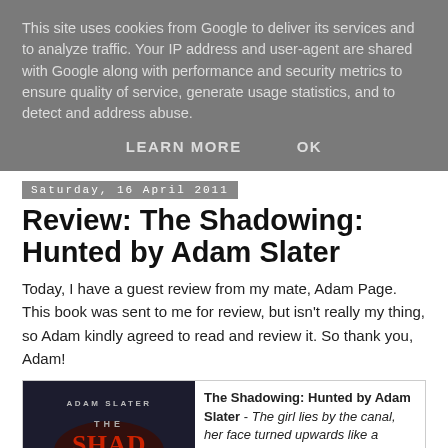This site uses cookies from Google to deliver its services and to analyze traffic. Your IP address and user-agent are shared with Google along with performance and security metrics to ensure quality of service, generate usage statistics, and to detect and address abuse.
LEARN MORE   OK
Saturday, 16 April 2011
Review: The Shadowing: Hunted by Adam Slater
Today, I have a guest review from my mate, Adam Page. This book was sent to me for review, but isn't really my thing, so Adam kindly agreed to read and review it. So thank you, Adam!
[Figure (photo): Book cover of The Shadowing: Hunted by Adam Slater, dark background with red stylized title text]
The Shadowing: Hunted by Adam Slater - The girl lies by the canal, her face turned upwards like a stargazer. But